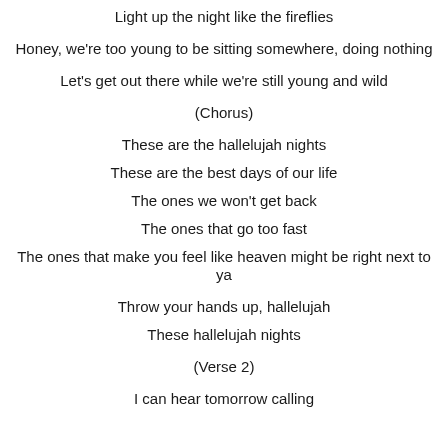Light up the night like the fireflies
Honey, we're too young to be sitting somewhere, doing nothing
Let's get out there while we're still young and wild
(Chorus)
These are the hallelujah nights
These are the best days of our life
The ones we won't get back
The ones that go too fast
The ones that make you feel like heaven might be right next to ya
Throw your hands up, hallelujah
These hallelujah nights
(Verse 2)
I can hear tomorrow calling